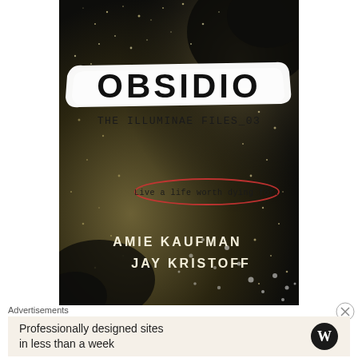[Figure (illustration): Book cover of 'OBSIDIO: The Illuminae Files_03' by Amie Kaufman and Jay Kristoff. Dark, dusty/starfield background with gold and black particles. White brushstroke banner with 'OBSIDIO' in large bold black letters. Below: 'THE ILLUMINAE FILES_03' in handwritten style. Center: oval/ellipse drawn in red with text 'Live a life worth dying for.' Author names at bottom: 'AMIE KAUFMAN' and 'JAY KRISTOFF'.]
Advertisements
Professionally designed sites in less than a week